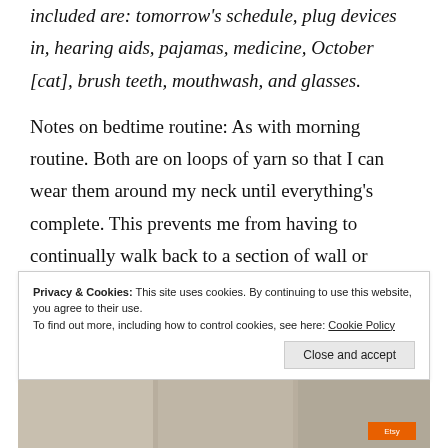included are: tomorrow's schedule, plug devices in, hearing aids, pajamas, medicine, October [cat], brush teeth, mouthwash, and glasses.
Notes on bedtime routine: As with morning routine. Both are on loops of yarn so that I can wear them around my neck until everything's complete. This prevents me from having to continually walk back to a section of wall or counter in a certain part of the house between each step, and makes it harder to get distracted and abandon the routine partway through.
Privacy & Cookies: This site uses cookies. By continuing to use this website, you agree to their use. To find out more, including how to control cookies, see here: Cookie Policy
Close and accept
[Figure (photo): Partial photo strip visible at bottom of page, showing what appears to be printed cards or notes, with an Etsy label visible in the bottom right corner.]